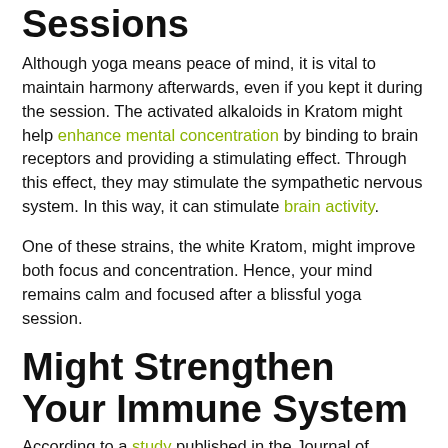Sessions
Although yoga means peace of mind, it is vital to maintain harmony afterwards, even if you kept it during the session. The activated alkaloids in Kratom might help enhance mental concentration by binding to brain receptors and providing a stimulating effect. Through this effect, they may stimulate the sympathetic nervous system. In this way, it can stimulate brain activity.
One of these strains, the white Kratom, might improve both focus and concentration. Hence, your mind remains calm and focused after a blissful yoga session.
Might Strengthen Your Immune System
According to a study published in the Journal of Behavioral Medicine, you can boost your immune system through physical activity. By practising yoga consistently, you are more likely to develop a more